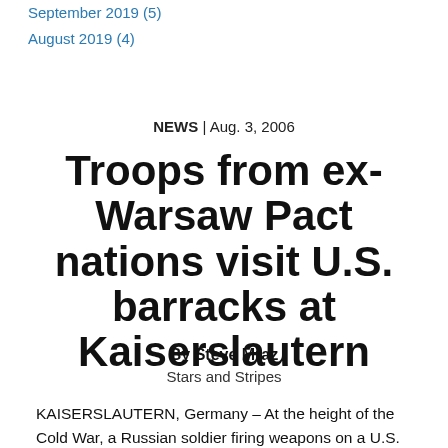September 2019 (5)
August 2019 (4)
NEWS | Aug. 3, 2006
Troops from ex-Warsaw Pact nations visit U.S. barracks at Kaiserslautern
By Steve Mraz
Stars and Stripes
KAISERSLAUTERN, Germany – At the height of the Cold War, a Russian soldier firing weapons on a U.S. Army base in Germany would have meant World War III was well under way.